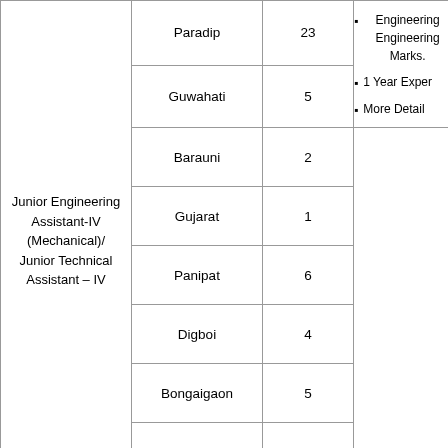| Post | Location | Vacancies | Requirements |
| --- | --- | --- | --- |
|  | Paradip | 23 |  |
| Junior Engineering Assistant-IV (Mechanical)/ Junior Technical Assistant – IV | Guwahati | 5 | Engineering Engineering Marks. 1 Year Expe... More Detail... |
|  | Barauni | 2 |  |
|  | Gujarat | 1 |  |
|  | Panipat | 6 |  |
|  | Digboi | 4 |  |
|  | Bongaigaon | 5 |  |
|  | Paradip | 9 |  |